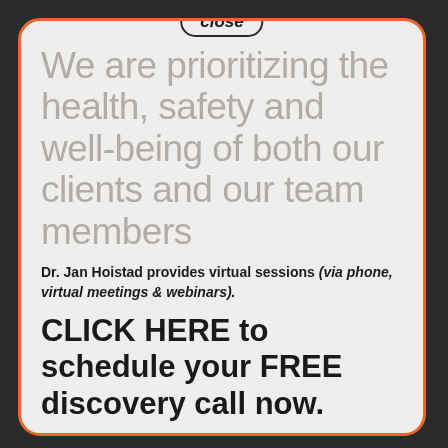[Figure (other): Close button pill at top center of card]
We are prioritizing the health, safety and well-being of both our clients and our team members
Dr. Jan Hoistad provides virtual sessions (via phone, virtual meetings & webinars).
CLICK HERE to schedule your FREE discovery call now.
It's especially important to stay safe. At the same time it's urgent to evaluate your relationship